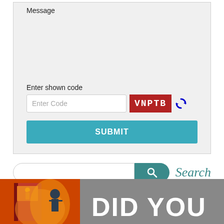Message
Enter shown code
[Figure (screenshot): CAPTCHA input area with text field showing 'Enter Code', a red CAPTCHA image showing 'VNPTB', and a blue refresh icon]
SUBMIT
[Figure (screenshot): Search bar with teal search button and 'Search' label in teal italic text]
[Figure (photo): Banner showing a book cover on the left and 'DID YOU' text on a grey background on the right]